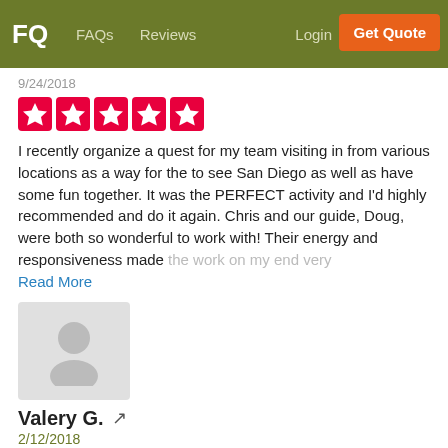FQ  FAQs  Reviews  Login  Get Quote
9/24/2018
[Figure (other): Five red star rating boxes]
I recently organize a quest for my team visiting in from various locations as a way for the to see San Diego as well as have some fun together. It was the PERFECT activity and I'd highly recommended and do it again. Chris and our guide, Doug, were both so wonderful to work with! Their energy and responsiveness made the work on my end very
Read More
[Figure (illustration): Generic user avatar placeholder icon, grey background]
Valery G. ↗
2/12/2018
[Figure (other): Five red star rating boxes]
WOW what an awesome team building activity it was! Our team has